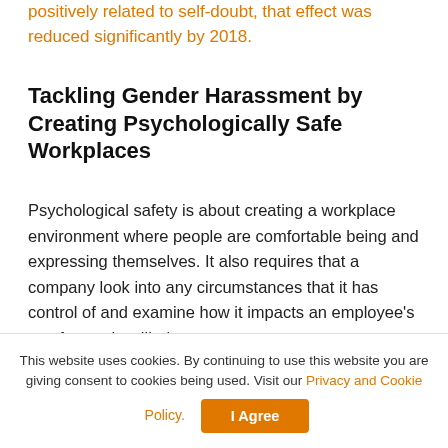positively related to self-doubt, that effect was reduced significantly by 2018.
Tackling Gender Harassment by Creating Psychologically Safe Workplaces
Psychological safety is about creating a workplace environment where people are comfortable being and expressing themselves. It also requires that a company look into any circumstances that it has control of and examine how it impacts an employee's comfort and wellbeing.
[Figure (photo): Clay - A Salto Group Company logo on the left, and a photo with a green background and a dark cylindrical object on the right]
This website uses cookies. By continuing to use this website you are giving consent to cookies being used. Visit our Privacy and Cookie Policy.